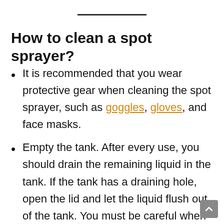How to clean a spot sprayer?
It is recommended that you wear protective gear when cleaning the spot sprayer, such as goggles, gloves, and face masks.
Empty the tank. After every use, you should drain the remaining liquid in the tank. If the tank has a draining hole, open the lid and let the liquid flush out of the tank. You must be careful when emptying the remaining liquid. You can flush the liquid...